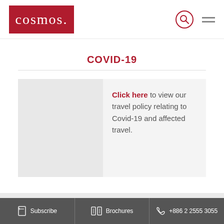cosmos.
COVID-19
Click here to view our travel policy relating to Covid-19 and affected travel.
Subscribe | Brochures | +886 2 2555 3055